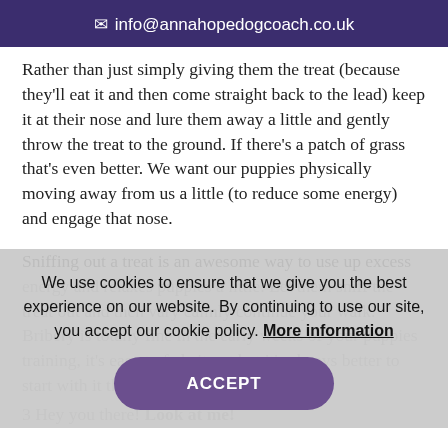info@annahopedogcoach.co.uk
Rather than just simply giving them the treat (because they'll eat it and then come straight back to the lead) keep it at their nose and lure them away a little and gently throw the treat to the ground. If there's a patch of grass that's even better. We want our puppies physically moving away from us a little (to reduce some energy) and engage that nose.
Sniffing out a treat is an awesome way to use up excess energy and relaxes puppies a little. Let them sniff the treat out and then vary calmly continue your walk. Bribery is totally fine in the early weeks of your puppies training, it's easy to fade it out but it's always better to start with it than it is to not.
We use cookies to ensure that we give you the best experience on our website. By continuing to use our site, you accept our cookie policy. More information
ACCEPT
3 Hey you there! Look at me!